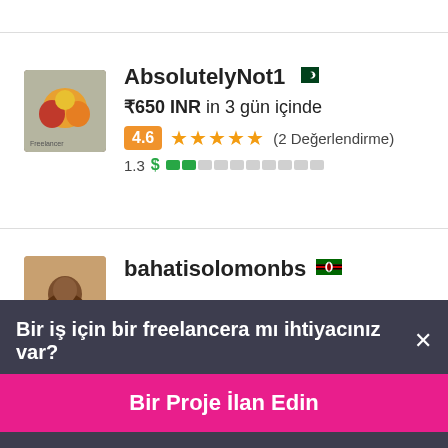[Figure (screenshot): Profile card for AbsolutelyNot1 with Pakistan flag, price ₹650 INR in 3 gün içinde, rating 4.6 stars (2 Değerlendirme), completion score 1.3]
AbsolutelyNot1 🇵🇰
₹650 INR in 3 gün içinde
4.6 ★★★★★ (2 Değerlendirme)
1.3 $
[Figure (screenshot): Partial profile card for bahatisolomonbs with Kenya flag]
bahatisolomonbs 🇰🇪
Bir iş için bir freelancera mı ihtiyacınız var? ×
Bir Proje İlan Edin